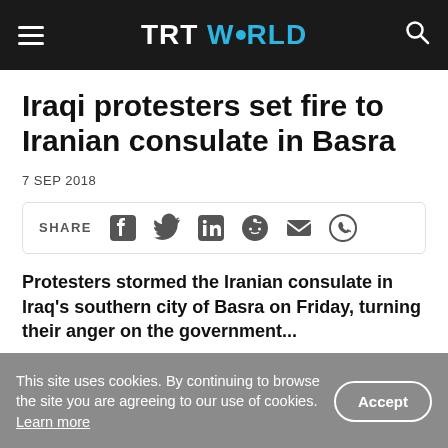TRT WORLD
Iraqi protesters set fire to Iranian consulate in Basra
7 SEP 2018
[Figure (infographic): Social share bar with icons for Facebook, Twitter, LinkedIn, Reddit, Email, and WhatsApp]
Protesters stormed the Iranian consulate in Iraq's southern city of Basra on Friday, turning their anger on the government...
This site uses cookies. By continuing to browse the site you are agreeing to our use of cookies. Learn more